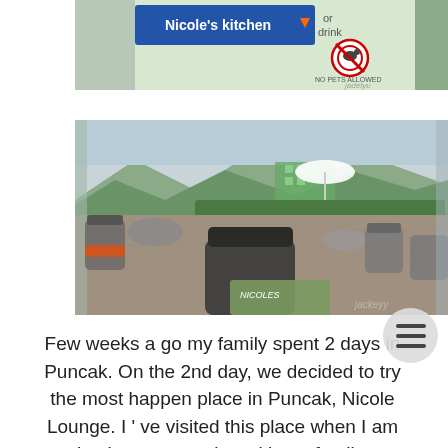[Figure (photo): Sign reading Nicole's kitchen with a blue background and a No Pets Allowed circular sign below it]
[Figure (photo): Outdoor terrace of Nicole Lounge in Puncak with modern wicker chairs, glass tables, green hedges and mountains in the background]
Few weeks a go my family spent 2 days in Puncak. On the 2nd day, we decided to try the most happen place in Puncak, Nicole Lounge. I ' ve visited this place when I am having my vacation with my family.